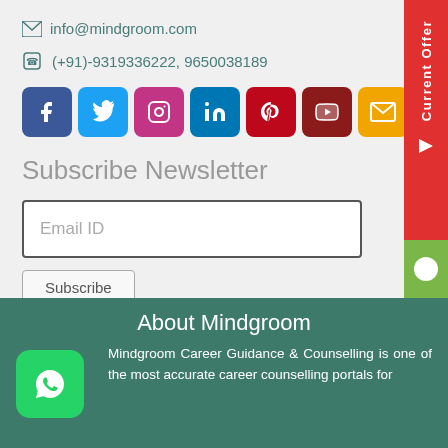info@mindgroom.com
(+91)-9319336222, 9650038189
[Figure (infographic): Row of social media icons: Facebook (blue), Twitter (light blue), Instagram (pink/red), LinkedIn (teal), Pinterest (red), YouTube (dark red), Email (yellow/orange)]
Subscribe Newsletter
Email ID
Subscribe
Current Offer
About Mindgroom
Mindgroom Career Guidance & Counselling is one of the most accurate career counselling portals for